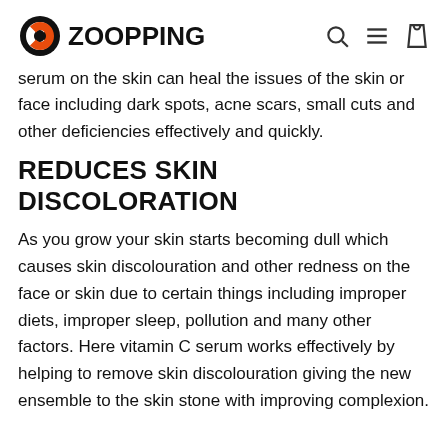ZOOPPING
serum on the skin can heal the issues of the skin or face including dark spots, acne scars, small cuts and other deficiencies effectively and quickly.
REDUCES SKIN DISCOLORATION
As you grow your skin starts becoming dull which causes skin discolouration and other redness on the face or skin due to certain things including improper diets, improper sleep, pollution and many other factors. Here vitamin C serum works effectively by helping to remove skin discolouration giving the new ensemble to the skin stone with improving complexion.